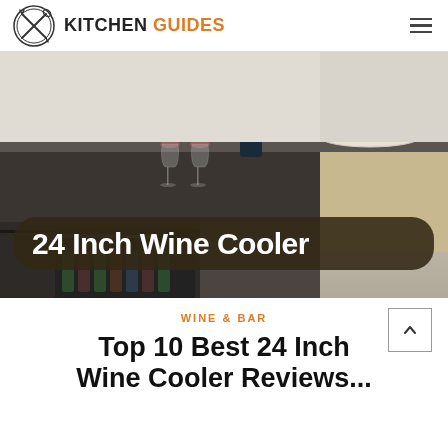KITCHEN GUIDES
[Figure (photo): Kitchen scene with wine glasses, a bottle of red wine, and grapes on a counter-top, with a built-in wine cooler visible below. Overlaid bold white text reads '24 Inch Wine Cooler' on a dark rounded rectangle background.]
WINE & BAR
Top 10 Best 24 Inch Wine Cooler Reviews...